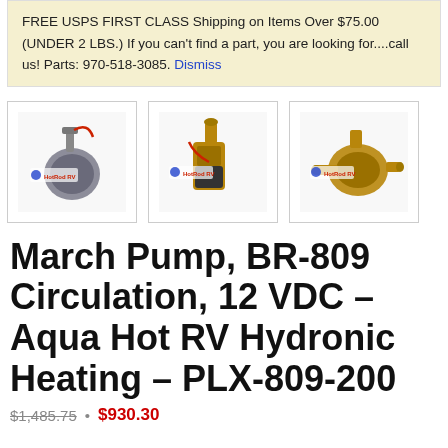FREE USPS FIRST CLASS Shipping on Items Over $75.00 (UNDER 2 LBS.) If you can't find a part, you are looking for....call us! Parts: 970-518-3085. Dismiss
[Figure (photo): Three product thumbnail images of March Pump BR-809 circulation pump, each showing the bronze/black pump from different angles, all watermarked with HotRod RV logo]
March Pump, BR-809 Circulation, 12 VDC – Aqua Hot RV Hydronic Heating – PLX-809-200
$1,485.75 • $930.30